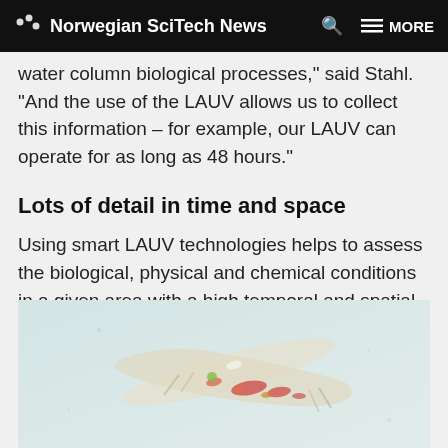Norwegian SciTech News
water column biological processes," said Stahl. "And the use of the LAUV allows us to collect this information – for example, our LAUV can operate for as long as 48 hours."
Lots of detail in time and space
Using smart LAUV technologies helps to assess the biological, physical and chemical conditions in a given area with a high temporal and spatial resolution, Stahl said.
[Figure (photo): Microscope image of a small organism or marine creature on a light blue-green background with red and orange markings]